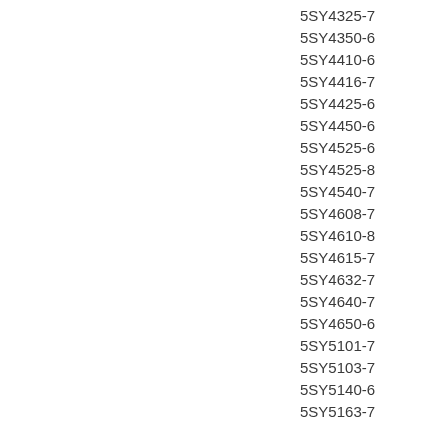5SY4325-7
5SY4350-6
5SY4410-6
5SY4416-7
5SY4425-6
5SY4450-6
5SY4525-6
5SY4525-8
5SY4540-7
5SY4608-7
5SY4610-8
5SY4615-7
5SY4632-7
5SY4640-7
5SY4650-6
5SY5101-7
5SY5103-7
5SY5140-6
5SY5163-7